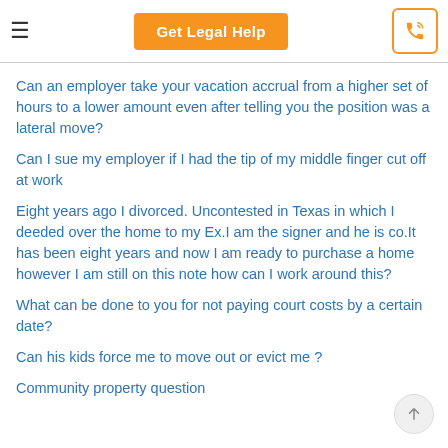Get Legal Help
Can an employer take your vacation accrual from a higher set of hours to a lower amount even after telling you the position was a lateral move?
Can I sue my employer if I had the tip of my middle finger cut off at work
Eight years ago I divorced. Uncontested in Texas in which I deeded over the home to my Ex.I am the signer and he is co.It has been eight years and now I am ready to purchase a home however I am still on this note how can I work around this?
What can be done to you for not paying court costs by a certain date?
Can his kids force me to move out or evict me ?
Community property question